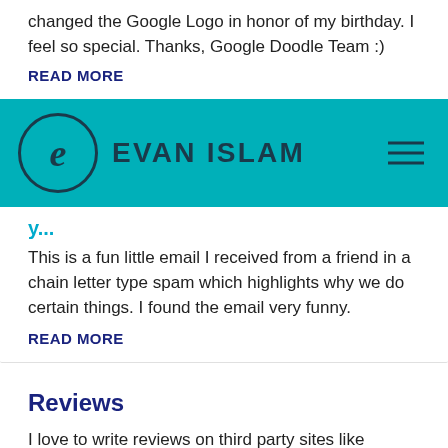changed the Google Logo in honor of my birthday. I feel so special. Thanks, Google Doodle Team :)
READ MORE
[Figure (logo): Evan Islam website navigation bar with teal background, circular logo with stylized 'e', brand name 'EVAN ISLAM', and hamburger menu icon]
This is a fun little email I received from a friend in a chain letter type spam which highlights why we do certain things. I found the email very funny.
READ MORE
Reviews
I love to write reviews on third party sites like Google, Yelp, Yahoo and other places. I figured why not on my site? These are some of my reviews.
READ MORE